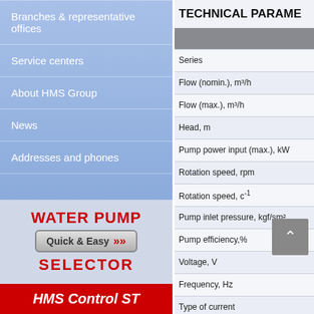Branches & representative offices
Service centers
About HMS Group
News
Addresses and phones
[Figure (infographic): Water Pump Quick & Easy Selector banner with red text and button]
[Figure (logo): HMS Control ST red banner]
TECHNICAL PARAME
| Parameter |
| --- |
| Series |
| Flow (nomin.), m³/h |
| Flow (max.), m³/h |
| Head, m |
| Pump power input (max.), kW |
| Rotation speed, rpm |
| Rotation speed, c⁻¹ |
| Pump inlet pressure, kgf/sm², |
| Pump efficiency,% |
| Voltage, V |
| Frequency, Hz |
| Type of current |
| Admissible positive suction he |